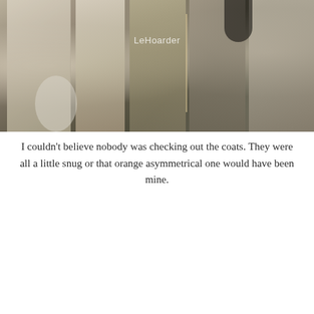[Figure (photo): Close-up photo of clothes hanging in a wardrobe/closet, showing neutral-toned garments. A watermark reading 'LeHoarder' is visible in the center.]
I couldn't believe nobody was checking out the coats. They were all a little snug or that orange asymmetrical one would have been mine.
[Figure (photo): Photo of a metal clothing rack with various garments hanging on black hangers, including brightly colored items (orange, pink/magenta, yellow) and darker pieces.]